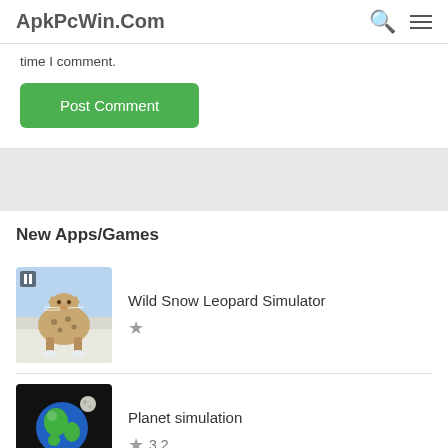ApkPcWin.Com
time I comment.
Post Comment
New Apps/Games
[Figure (screenshot): Wild Snow Leopard Simulator app icon showing a snow leopard standing on snow with blue sky background]
Wild Snow Leopard Simulator
[Figure (screenshot): Planet simulation app icon showing Earth globe on a cardboard box with a moon above, on black background]
Planet simulation 3.2